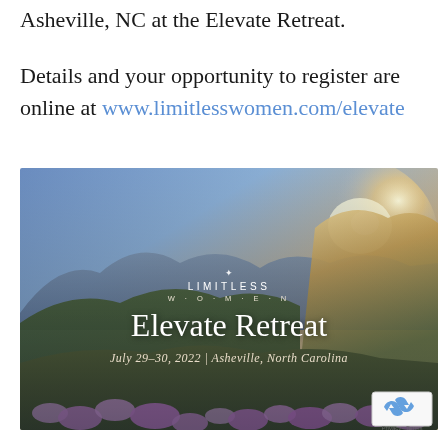Asheville, NC at the Elevate Retreat.
Details and your opportunity to register are online at www.limitlesswomen.com/elevate
[Figure (illustration): Mountain landscape at sunset with purple wildflowers in foreground. Overlaid with Limitless Women logo, text reading 'Elevate Retreat', and 'July 29-30, 2022 | Asheville, North Carolina'. reCAPTCHA badge visible in bottom-right corner.]